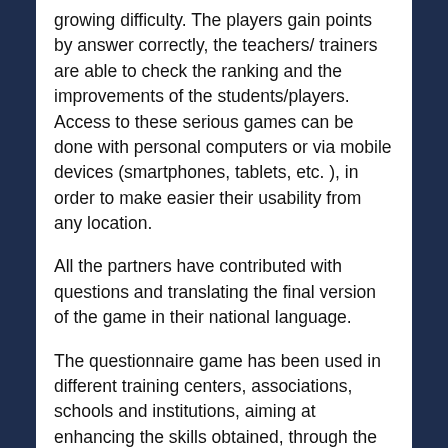growing difficulty. The players gain points by answer correctly, the teachers/ trainers are able to check the ranking and the improvements of the students/players. Access to these serious games can be done with personal computers or via mobile devices (smartphones, tablets, etc. ), in order to make easier their usability from any location.
All the partners have contributed with questions and translating the final version of the game in their national language.
The questionnaire game has been used in different training centers, associations, schools and institutions, aiming at enhancing the skills obtained, through the use of innovative training methods such as those based on gamification.